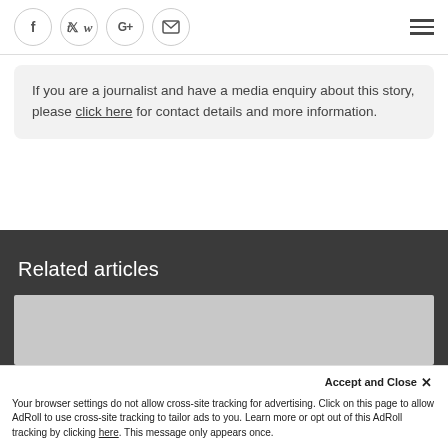[Figure (other): Social media share icons: Facebook, Twitter, Google+, Email (envelope), and a hamburger menu icon in the top-right corner]
If you are a journalist and have a media enquiry about this story, please click here for contact details and more information.
Related articles
[Figure (photo): Placeholder image for a related article thumbnail]
Accept and Close ×
Your browser settings do not allow cross-site tracking for advertising. Click on this page to allow AdRoll to use cross-site tracking to tailor ads to you. Learn more or opt out of this AdRoll tracking by clicking here. This message only appears once.